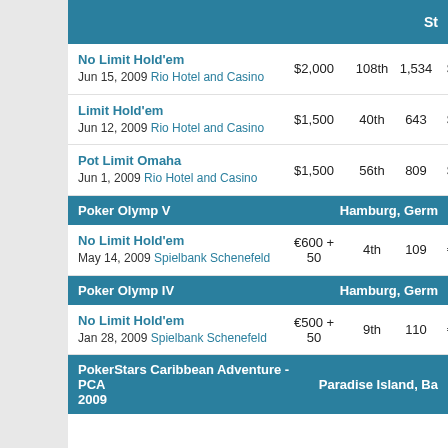St...
No Limit Hold'em
Jun 15, 2009 Rio Hotel and Casino
$2,000  108th  1,534  $4,215  —
Limit Hold'em
Jun 12, 2009 Rio Hotel and Casino
$1,500  40th  643  $4,046  —
Pot Limit Omaha
Jun 1, 2009 Rio Hotel and Casino
$1,500  56th  809  $3,765  —
Poker Olymp V    Hamburg, Germ...
No Limit Hold'em
May 14, 2009 Spielbank Schenefeld
€600+50  4th  109  €6,800  —
Poker Olymp IV    Hamburg, Germ...
No Limit Hold'em
Jan 28, 2009 Spielbank Schenefeld
€500+50  9th  110  €1,100  —
PokerStars Caribbean Adventure - PCA 2009    Paradise Island, Ba...